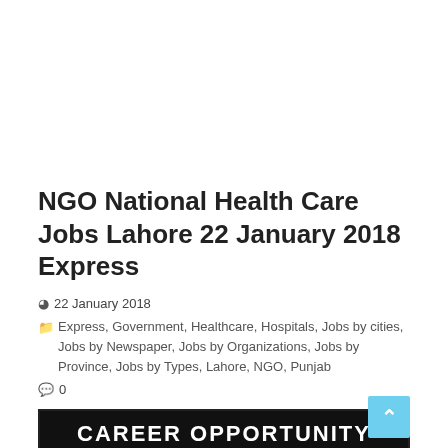NGO National Health Care Jobs Lahore 22 January 2018 Express
22 January 2018
Express, Government, Healthcare, Hospitals, Jobs by cities, Jobs by Newspaper, Jobs by Organizations, Jobs by Province, Jobs by Types, Lahore, NGO, Punjab
0
[Figure (other): Career Opportunity advertisement for National Health Care NGO for Program Coordinator position for MDR-TB project at Lahore Office. POST: Program Coordinator, Duty Station: Lahore Office. QUALIFICATION: MBBS. Additional relevant qualification will be preferred. SALARY: Rs. 85,000 per month. JOB DESCRIPTION & EXPERIENCE: Responsible for implementation, coordination &]